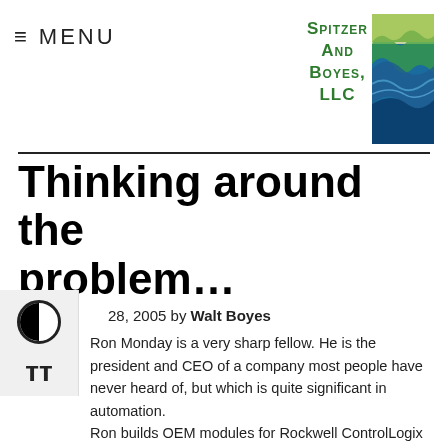≡ MENU | SPITZER AND BOYES, LLC
Thinking around the problem…
28, 2005 by Walt Boyes
Ron Monday is a very sharp fellow. He is the president and CEO of a company most people have never heard of, but which is quite significant in automation. Ron builds OEM modules for Rockwell ControlLogix and for ProSoft. Now, with the help of some technology from ILS (a spin-off of IBM), he is ready to set the world of interoperability on its ear. Basically, the world of enterprise IT grew incrementally,